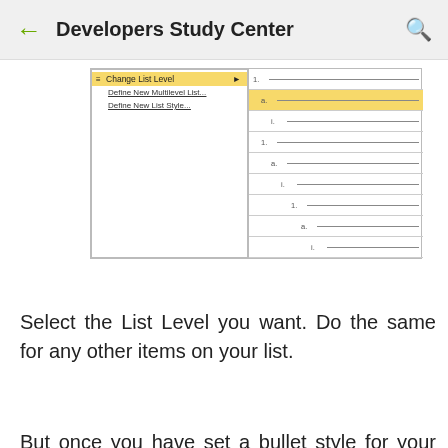Developers Study Center
[Figure (screenshot): Screenshot of Microsoft Word showing the Change List Level context menu with options: Change List Level (highlighted in yellow), Define New Multilevel List..., Define New List Style..., alongside a list level selector panel showing nested list levels (1., a., i.) at increasing indentation depths with the second row (a.) highlighted in yellow.]
Select the List Level you want. Do the same for any other items on your list.
But once you have set a bullet style for your list, it should look something